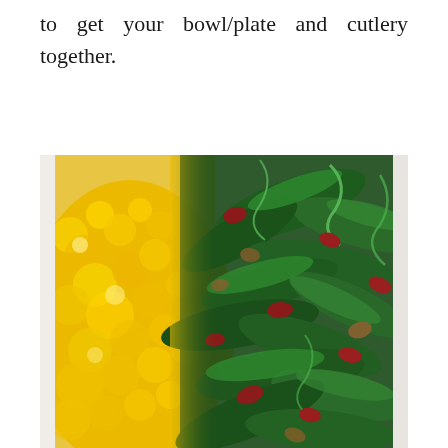to get your bowl/plate and cutlery together.
[Figure (photo): Close-up photograph of a white plate with bright yellow scrambled eggs or polenta on the left side and a pile of sautéed dark green leafy vegetables (spinach or similar) mixed with red kidney beans and other ingredients on the right side.]